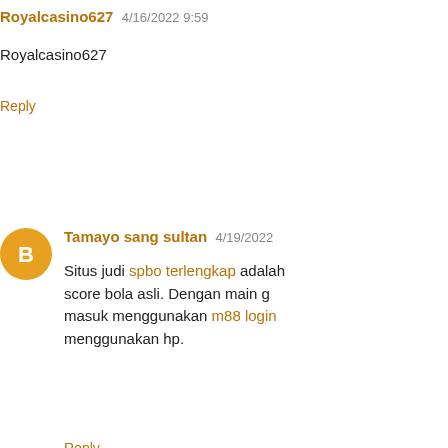Royalcasino627  4/16/2022 9:59
Royalcasino627
Reply
Tamayo sang sultan  4/19/2022
Situs judi spbo terlengkap adalah score bola asli. Dengan main g masuk menggunakan m88 login menggunakan hp.
Reply
tukang bangunan ingin kaya  4/
Di tahun 2022 ini Banyak sekali slot online ini karena disini me yang mudah menang bisa dapat slot sweet bonanza tergacor ya saja dengan main game slot rtp bisa juga mainkan banyak game jadi dengan kamu main game slo
Reply